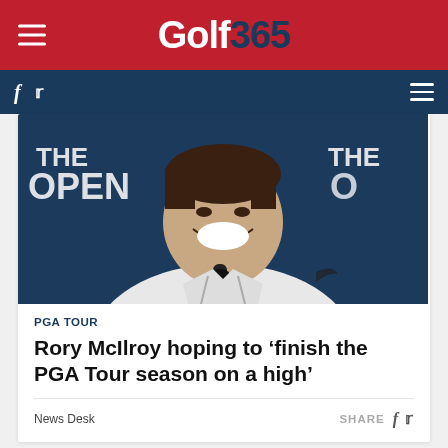Golf365
[Figure (photo): Rory McIlroy laughing and smiling at a press conference in front of The Open Championship backdrop, wearing a white Nike jacket with a microphone in front of him]
PGA TOUR
Rory McIlroy hoping to 'finish the PGA Tour season on a high'
News Desk
SHARE
THE OPEN